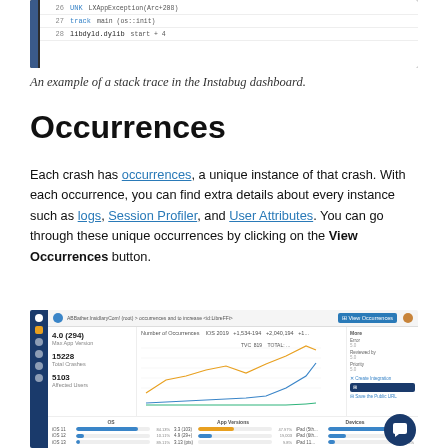[Figure (screenshot): Screenshot of a stack trace in the Instabug dashboard showing rows 26, 27, 28 with function names and line references]
An example of a stack trace in the Instabug dashboard.
Occurrences
Each crash has occurrences, a unique instance of that crash. With each occurrence, you can find extra details about every instance such as logs, Session Profiler, and User Attributes. You can go through these unique occurrences by clicking on the View Occurrences button.
[Figure (screenshot): Screenshot of Instabug dashboard showing crash occurrences with stats (4.0 (294), 15228, 5103), a line chart titled Number of Occurrences, and breakdowns for OS, App Versions, and Devices. A View Occurrences button is visible.]